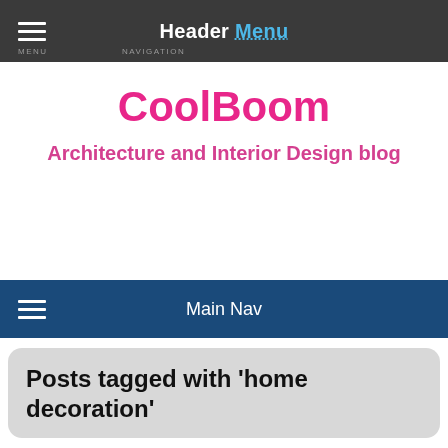Header Menu
CoolBoom
Architecture and Interior Design blog
Main Nav
Posts tagged with 'home decoration'
Thoughtful Luxury Dream House in Compact Interior Decor
Posted on September 4, 2019